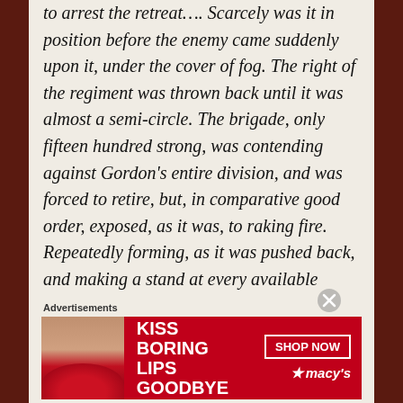to arrest the retreat…. Scarcely was it in position before the enemy came suddenly upon it, under the cover of fog. The right of the regiment was thrown back until it was almost a semi-circle. The brigade, only fifteen hundred strong, was contending against Gordon's entire division, and was forced to retire, but, in comparative good order, exposed, as it was, to raking fire. Repeatedly forming, as it was pushed back, and making a stand at every available point, it finally succeeded in checking
Advertisements
[Figure (illustration): Macy's advertisement banner: red background with woman's face showing red lips, text 'KISS BORING LIPS GOODBYE', 'SHOP NOW' button, and Macy's star logo]